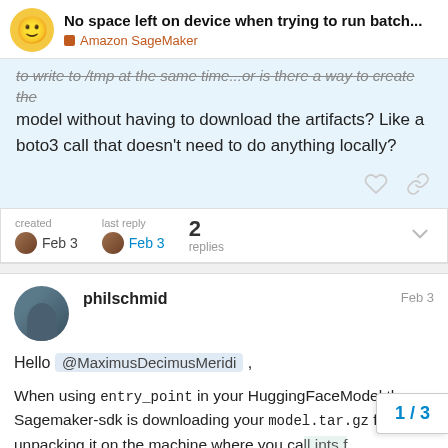No space left on device when trying to run batch... — Amazon SageMaker
to write to /tmp at the same time...or is there a way to create the model without having to download the artifacts? Like a boto3 call that doesn't need to do anything locally?
created Feb 3  last reply Feb 3  2 replies
philschmid  Feb 3
Hello @MaximusDecimusMeridi ,
When using entry_point in your HuggingFaceModel the Sagemaker-sdk is downloading your model.tar.gz from S3 unpacking it on the machine where you ca... and then adds your inference.py and p...
1 / 3